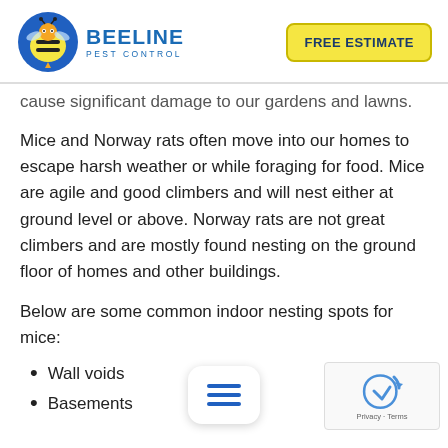[Figure (logo): Beeline Pest Control logo with bee mascot in a blue circle, and blue text 'BEELINE PEST CONTROL']
FREE ESTIMATE
cause significant damage to our gardens and lawns.
Mice and Norway rats often move into our homes to escape harsh weather or while foraging for food. Mice are agile and good climbers and will nest either at ground level or above. Norway rats are not great climbers and are mostly found nesting on the ground floor of homes and other buildings.
Below are some common indoor nesting spots for mice:
Wall voids
Basements